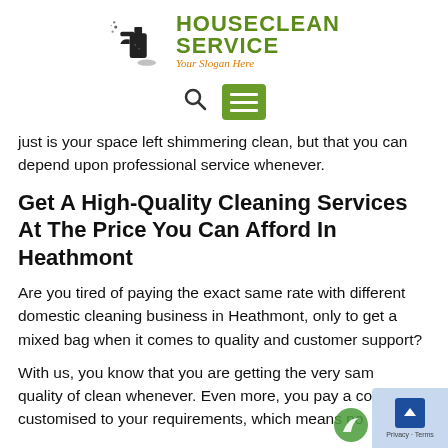[Figure (logo): HouseClean Service logo with cleaning spray bottle icon, green bold text HOUSECLEAN SERVICE and orange italic slogan 'Your Slogan Here']
[Figure (infographic): Navigation bar with search icon and green hamburger menu button]
just is your space left shimmering clean, but that you can depend upon professional service whenever.
Get A High-Quality Cleaning Services At The Price You Can Afford In Heathmont
Are you tired of paying the exact same rate with different domestic cleaning business in Heathmont, only to get a mixed bag when it comes to quality and customer support?
With us, you know that you are getting the very same quality of clean whenever. Even more, you pay a cost customised to your requirements, which means no